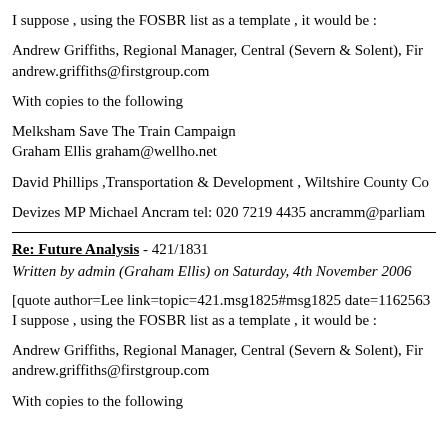I suppose , using the FOSBR list as a template , it would be :
Andrew Griffiths, Regional Manager, Central (Severn & Solent), Fir
andrew.griffiths@firstgroup.com
With copies to the following
Melksham Save The Train Campaign
Graham Ellis graham@wellho.net
David Phillips ,Transportation & Development , Wiltshire County Co
Devizes MP Michael Ancram tel: 020 7219 4435 ancramm@parliam
Re: Future Analysis - 421/1831
Written by admin (Graham Ellis) on Saturday, 4th November 2006
[quote author=Lee link=topic=421.msg1825#msg1825 date=1162563
I suppose , using the FOSBR list as a template , it would be :
Andrew Griffiths, Regional Manager, Central (Severn & Solent), Fir
andrew.griffiths@firstgroup.com
With copies to the following